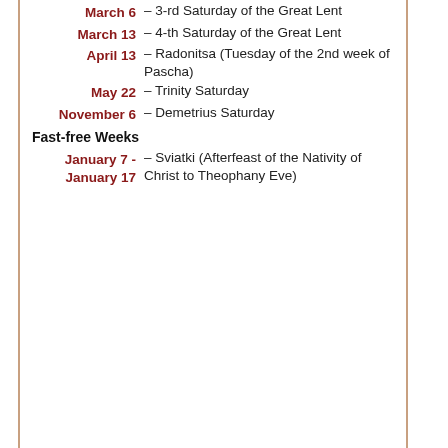March 6 – 3-rd Saturday of the Great Lent
March 13 – 4-th Saturday of the Great Lent
April 13 – Radonitsa (Tuesday of the 2nd week of Pascha)
May 22 – Trinity Saturday
November 6 – Demetrius Saturday
Fast-free Weeks
January 7 - January 17 – Sviatki (Afterfeast of the Nativity of Christ to Theophany Eve)